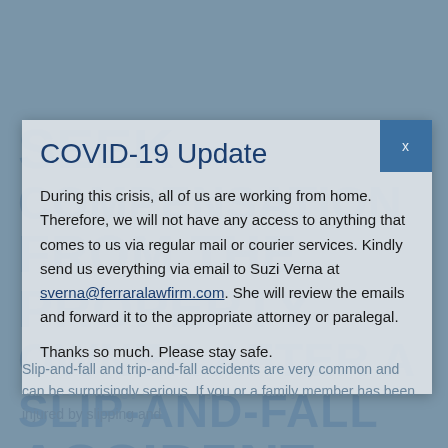[Figure (illustration): Background watermark text reading SEEK COMPENSATION FROM THE PROPERTY OWNER AFTER A SLIP-AND-FALL ACCIDENT in large blue uppercase letters on a steel-blue background]
COVID-19 Update
During this crisis, all of us are working from home. Therefore, we will not have any access to anything that comes to us via regular mail or courier services. Kindly send us everything via email to Suzi Verna at sverna@ferraralawfirm.com. She will review the emails and forward it to the appropriate attorney or paralegal. Thanks so much. Please stay safe.
Slip-and-fall and trip-and-fall accidents are very common and can be surprisingly serious. If you or a family member has been injured by slipping and